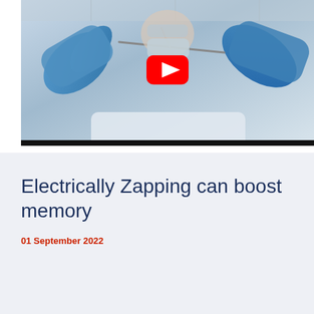[Figure (screenshot): YouTube video thumbnail titled 'Biotech community video 1' showing a scientist in blue gloves holding a lab instrument, with a YouTube play button overlay and a channel logo (qtc) in the top-left corner.]
Electrically Zapping can boost memory
01 September 2022